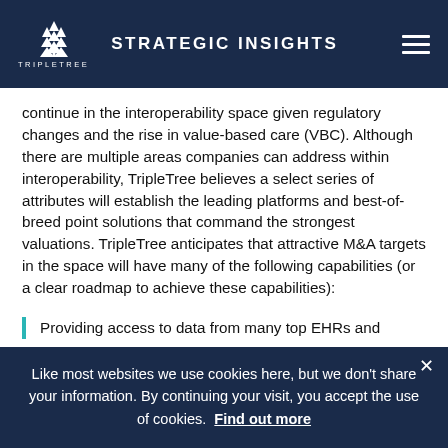STRATEGIC INSIGHTS
continue in the interoperability space given regulatory changes and the rise in value-based care (VBC). Although there are multiple areas companies can address within interoperability, TripleTree believes a select series of attributes will establish the leading platforms and best-of-breed point solutions that command the strongest valuations. TripleTree anticipates that attractive M&A targets in the space will have many of the following capabilities (or a clear roadmap to achieve these capabilities):
Providing access to data from many top EHRs and
Like most websites we use cookies here, but we don't share your information. By continuing your visit, you accept the use of cookies. Find out more